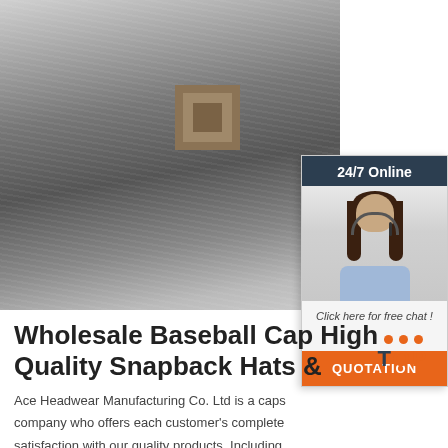[Figure (photo): Close-up photo of a gray baseball cap strap with a metal buckle/adjuster, showing textured fabric detail]
[Figure (infographic): 24/7 Online chat widget with a smiling woman wearing a headset, 'Click here for free chat!' text and an orange QUOTATION button]
Wholesale Baseball Cap High Quality Snapback Hats &
Ace Headwear Manufacturing Co. Ltd is a caps company who offers each customer's complete satisfaction with our quality products, Including military cap, baseball cap, trucker cap,